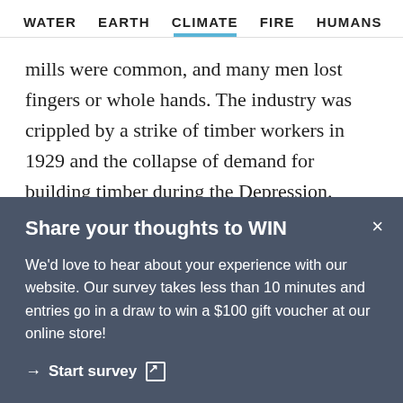WATER   EARTH   CLIMATE   FIRE   HUMANS
mills were common, and many men lost fingers or whole hands. The industry was crippled by a strike of timber workers in 1929 and the collapse of demand for building timber during the Depression. Stockpiled timbers were washed away when the Yarra flooded in 1934; and many mills and their communities were destroyed in the 1939
Share your thoughts to WIN
We'd love to hear about your experience with our website. Our survey takes less than 10 minutes and entries go in a draw to win a $100 gift voucher at our online store!
→ Start survey ↗